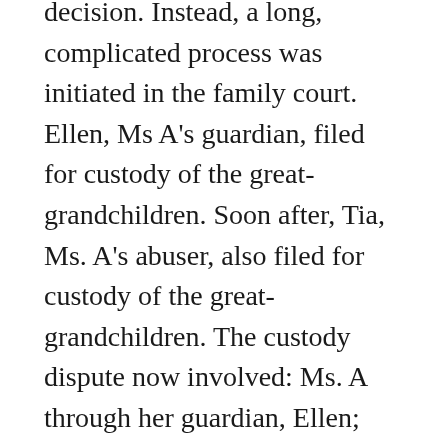decision. Instead, a long, complicated process was initiated in the family court. Ellen, Ms A's guardian, filed for custody of the great-grandchildren. Soon after, Tia, Ms. A's abuser, also filed for custody of the great-grandchildren. The custody dispute now involved: Ms. A through her guardian, Ellen; Ellen on her own behalf; and Tia, Ms. A's abuser.
In family court, Ellen, a non-attorney without expertise in either Supreme or Family Court, was left to relay the complexities of the family dynamic, custody matter, abuse, and guardianship in this complex case. In Ms. A's